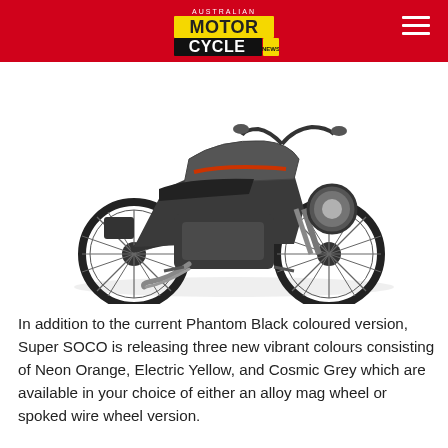AUSTRALIAN MOTORCYCLE NEWS
[Figure (photo): A dark grey/black Super SOCO electric motorcycle with orange accent stripes, shown in profile view on a white background. The bike has spoked wheels, a round headlight, low cafe-racer style seat, and handlebar mirrors.]
In addition to the current Phantom Black coloured version, Super SOCO is releasing three new vibrant colours consisting of Neon Orange, Electric Yellow, and Cosmic Grey which are available in your choice of either an alloy mag wheel or spoked wire wheel version.